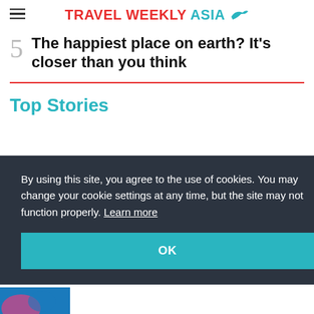TRAVEL WEEKLY ASIA
The happiest place on earth? It's closer than you think
Top Stories
By using this site, you agree to the use of cookies. You may change your cookie settings at any time, but the site may not function properly. Learn more
OK